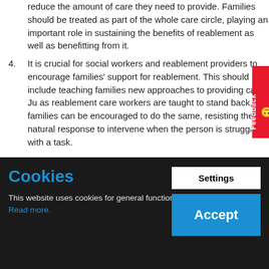reduce the amount of care they need to provide. Families should be treated as part of the whole care circle, playing an important role in sustaining the benefits of reablement as well as benefitting from it.
It is crucial for social workers and reablement providers to encourage families' support for reablement. This should include teaching families new approaches to providing care. Just as reablement care workers are taught to stand back, families can be encouraged to do the same, resisting their natural response to intervene when the person is struggling with a task.
Cookies
This website uses cookies for general functionality and user tracking. Read more.